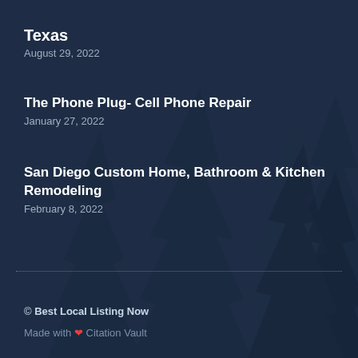Texas
August 29, 2022
The Phone Plug- Cell Phone Repair
January 27, 2022
San Diego Custom Home, Bathroom & Kitchen Remodeling
February 8, 2022
© Best Local Listing Now
Made with ❤ Citation Vault